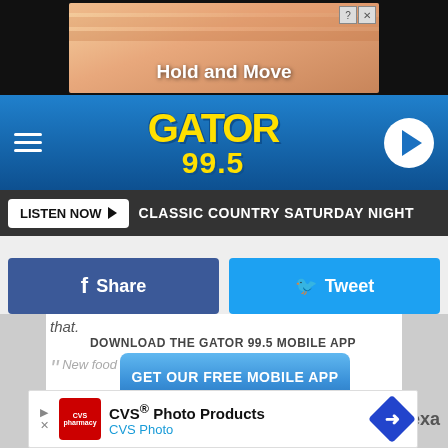[Figure (screenshot): Ad banner at top showing 'Hold and Move' game advertisement with two cartoon figures on stairs, with close/info buttons]
[Figure (logo): Gator 99.5 radio station logo in yellow on blue gradient navigation bar with hamburger menu and play button]
LISTEN NOW   CLASSIC COUNTRY SATURDAY NIGHT
[Figure (infographic): Facebook Share button (dark blue) and Twitter Tweet button (light blue) side by side]
that.
DOWNLOAD THE GATOR 99.5 MOBILE APP
GET OUR FREE MOBILE APP
Also listen on:  amazon alexa
New food drop at @ToyotaCenter tonight!
Jumbo mac 'n cheese hot dog with fruit loops and bac
[Figure (screenshot): CVS Photo Products advertisement banner at bottom with CVS logo, title, and navigation arrow]